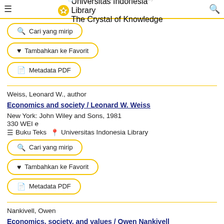≡  Buku Teks  📍 Universitas Indonesia Library  🔍
🔍 Cari yang mirip
♥ Tambahkan ke Favorit
📄 Metadata PDF
Weiss, Leonard W., author
Economics and society / Leonard W. Weiss
New York: John Wiley and Sons, 1981
330 WEI e
≡ Buku Teks  📍 Universitas Indonesia Library
🔍 Cari yang mirip
♥ Tambahkan ke Favorit
📄 Metadata PDF
Nankivell, Owen
Economics, society, and values / Owen Nankivell